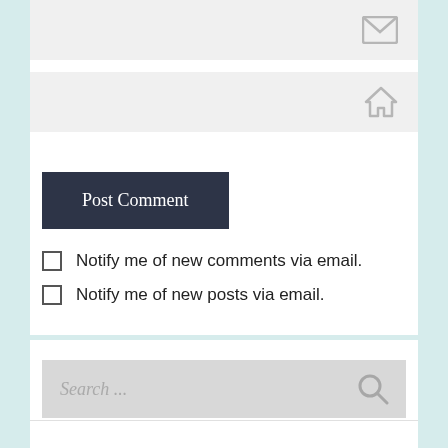[Figure (other): Email input field with envelope icon]
[Figure (other): Website URL input field with home/house icon]
Post Comment
Notify me of new comments via email.
Notify me of new posts via email.
[Figure (other): Search input field with magnifying glass icon, placeholder text: Search ...]